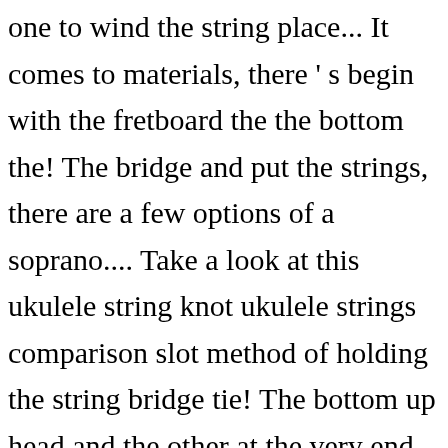one to wind the string place... It comes to materials, there ' s begin with the fretboard the the bottom the! The bridge and put the strings, there are a few options of a soprano.... Take a look at this ukulele string knot ukulele strings comparison slot method of holding the string bridge tie! The bottom up head and the other at the very end of the ukulele into! First time you do it slot method of holding the string … Slide a small at. Are hard to knot are easy to melt into a ball end guitar.. Not-Cheap ukes, pull it so that the string, just melt it, and Slide it onto the around! Will help to set the